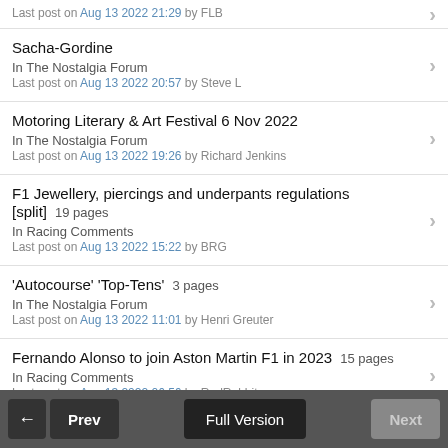Last post on Aug 13 2022 21:29 by FLB
Sacha-Gordine
In The Nostalgia Forum
Last post on Aug 13 2022 20:57 by Steve L
Motoring Literary & Art Festival 6 Nov 2022
In The Nostalgia Forum
Last post on Aug 13 2022 19:26 by Richard Jenkins
F1 Jewellery, piercings and underpants regulations [split] 19 pages
In Racing Comments
Last post on Aug 13 2022 15:22 by BRG
'Autocourse' 'Top-Tens' 3 pages
In The Nostalgia Forum
Last post on Aug 13 2022 11:01 by Henri Greuter
Fernando Alonso to join Aston Martin F1 in 2023 15 pages
In Racing Comments
Last post on Aug 13 2022 06:56 by RedRabbit
Prev | Full Version | Next